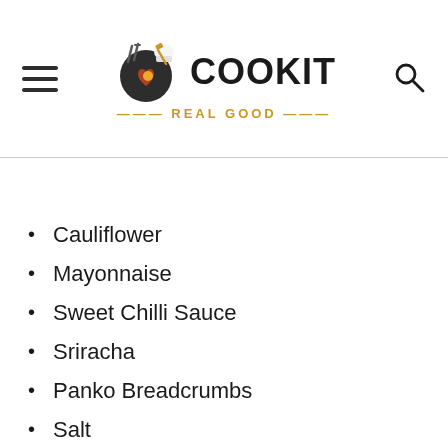[Figure (logo): Cook It Real Good logo with frying pan icon, chef hat, and cooking utensils]
Cauliflower
Mayonnaise
Sweet Chilli Sauce
Sriracha
Panko Breadcrumbs
Salt
Spray Oil